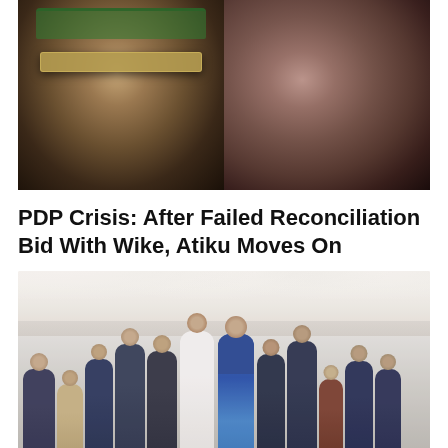[Figure (photo): Split photo showing two Nigerian politicians: on the left, a man wearing reflective aviator sunglasses and a green cap; on the right, another man in profile against a purple background.]
PDP Crisis: After Failed Reconciliation Bid With Wike, Atiku Moves On
[Figure (photo): Group of people standing in prayer or moment of silence inside a tent or banquet hall with white draped ceiling. People are dressed in formal attire, mostly dark suits and traditional Nigerian clothing.]